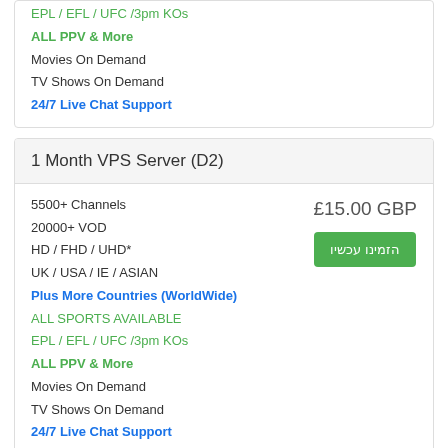EPL / EFL / UFC /3pm KOs
ALL PPV & More
Movies On Demand
TV Shows On Demand
24/7 Live Chat Support
1 Month VPS Server (D2)
5500+ Channels
20000+ VOD
HD / FHD / UHD*
UK / USA / IE / ASIAN
Plus More Countries (WorldWide)
ALL SPORTS AVAILABLE
EPL / EFL / UFC /3pm KOs
ALL PPV & More
Movies On Demand
TV Shows On Demand
24/7 Live Chat Support
£15.00 GBP
הזמינו עכשיו
1 Month VPS Server (D3)